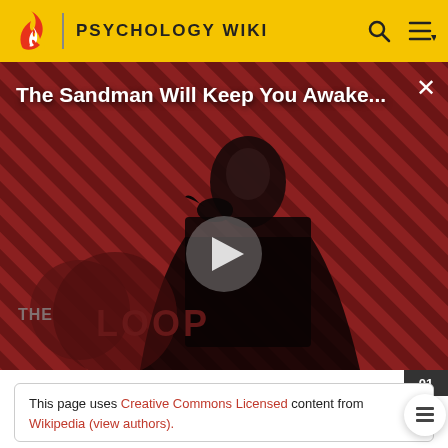PSYCHOLOGY WIKI
[Figure (screenshot): Video thumbnail showing 'The Sandman Will Keep You Awake...' with a play button overlay, featuring a dark-cloaked figure against a red diagonal striped background, with THE LOOP logo in the lower left]
The Sandman Will Keep You Awake - The Loop
This page uses Creative Commons Licensed content from Wikipedia (view authors).